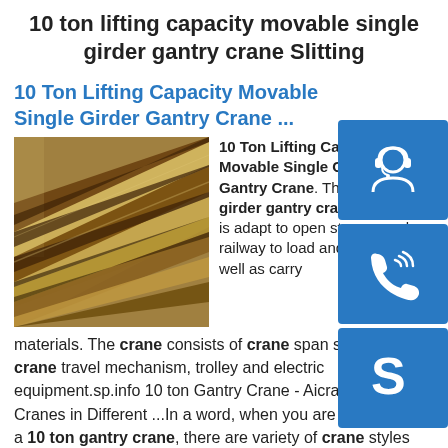10 ton lifting capacity movable single girder gantry crane Slitting
10 Ton Lifting Capacity Movable Single Girder Gantry Crane ...
[Figure (photo): Photo of steel beams or rails stacked together at an angle, showing industrial metal components]
10 Ton Lifting Capacity Movable Single Girder Gantry Crane. The single girder gantry crane with hook is adapt to open storage and railway to load and unload as well as carry materials. The crane consists of crane span structure, crane travel mechanism, trolley and electric equipment.sp.info 10 ton Gantry Crane - Aicrane Gantry Cranes in Different ...In a word, when you are going to buy a 10 ton gantry crane, there are variety of crane styles
[Figure (infographic): Blue icon box with headset/support icon]
[Figure (infographic): Blue icon box with phone/call icon]
[Figure (infographic): Blue icon box with Skype icon]